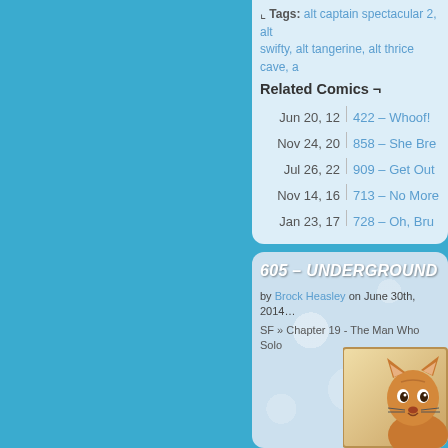↳ Tags: alt captain spectacular 2, alt swifty, alt tangerine, alt thrice cave, a…
Related Comics ¬
Jun 20, 12 | 422 – Whoof!
Nov 24, 20 | 858 – She Bre…
Jul 26, 22 | 909 – Get Out…
Nov 14, 16 | 713 – No More…
Jan 23, 17 | 728 – Oh, Bru…
605 – UNDERGROUND…
by Brock Heasley on June 30th, 2014…
SF » Chapter 19 - The Man Who Solo…
[Figure (illustration): Partial view of a comic panel showing an animal character (appears to be a cat or similar creature) on a yellow/tan background]